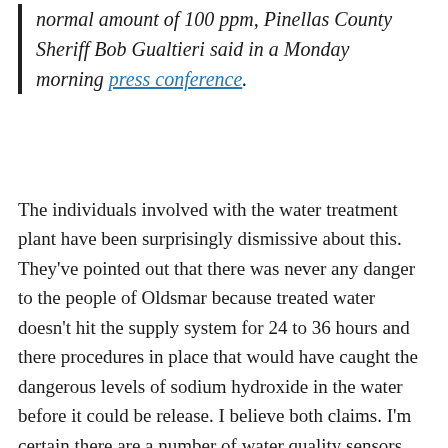normal amount of 100 ppm, Pinellas County Sheriff Bob Gualtieri said in a Monday morning press conference.
The individuals involved with the water treatment plant have been surprisingly dismissive about this. They've pointed out that there was never any danger to the people of Oldsmar because treated water doesn't hit the supply system for 24 to 36 hours and there procedures in place that would have caught the dangerous levels of sodium hydroxide in the water before it could be release. I believe both claims. I'm certain there are a number of water quality sensors involved in verifying that treated water is safe before it is released into the supply system. However, they're not mentioning other dangers.